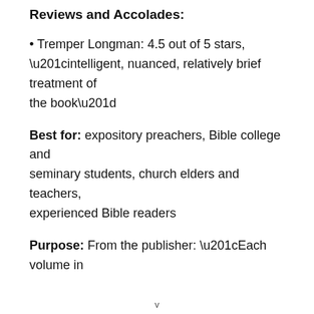Reviews and Accolades:
• Tremper Longman: 4.5 out of 5 stars, “intelligent, nuanced, relatively brief treatment of the book”
Best for: expository preachers, Bible college and seminary students, church elders and teachers, experienced Bible readers
Purpose: From the publisher: “Each volume in
v